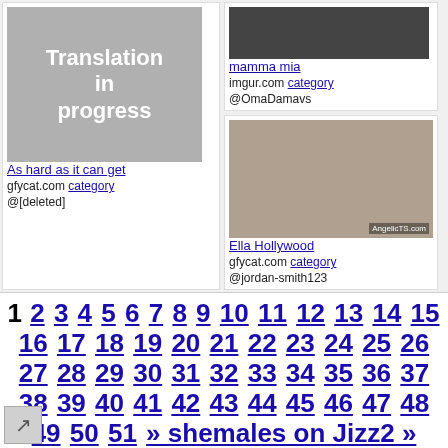[Figure (photo): Translation in progress placeholder image (grey box with white text)]
As hard as it can get
gfycat.com category
@[deleted]
[Figure (photo): Small dark thumbnail image at top right]
mamma mia
imgur.com category
@OmaDamavs
[Figure (photo): Ella Hollywood photo thumbnail]
Ella Hollywood
gfycat.com category
@jordan-smith123
1 2 3 4 5 6 7 8 9 10 11 12 13 14 15 16 17 18 19 20 21 22 23 24 25 26 27 28 29 30 31 32 33 34 35 36 37 38 39 40 41 42 43 44 45 46 47 48 49 50 51 » shemales on Jizz2 »
©2016 8xxx.net